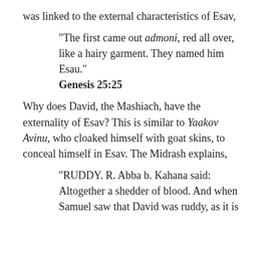was linked to the external characteristics of Esav,
“The first came out admoni, red all over, like a hairy garment. They named him Esau.”
Genesis 25:25
Why does David, the Mashiach, have the externality of Esav? This is similar to Yaakov Avinu, who cloaked himself with goat skins, to conceal himself in Esav. The Midrash explains,
“RUDDY. R. Abba b. Kahana said: Altogether a shedder of blood. And when Samuel saw that David was ruddy, as it is